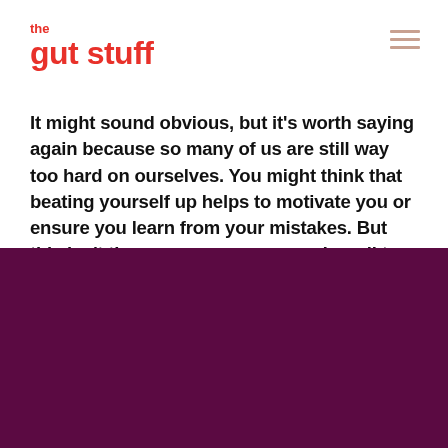the gut stuff
It might sound obvious, but it's worth saying again because so many of us are still way too hard on ourselves. You might think that beating yourself up helps to motivate you or ensure you learn from your mistakes. But this isn't the case; no one responds well to bullying and studies have even found that self-compassion is much more motivating.
[Figure (logo): Large white stylized letter g logo on dark purple background]